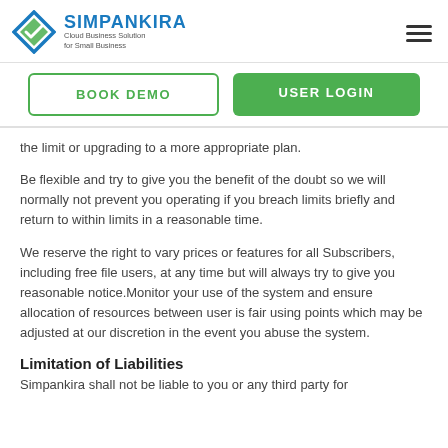SIMPANKIRA Cloud Business Solution for Small Business
the limit or upgrading to a more appropriate plan.
Be flexible and try to give you the benefit of the doubt so we will normally not prevent you operating if you breach limits briefly and return to within limits in a reasonable time.
We reserve the right to vary prices or features for all Subscribers, including free file users, at any time but will always try to give you reasonable notice.Monitor your use of the system and ensure allocation of resources between user is fair using points which may be adjusted at our discretion in the event you abuse the system.
Limitation of Liabilities
Simpankira shall not be liable to you or any third party for